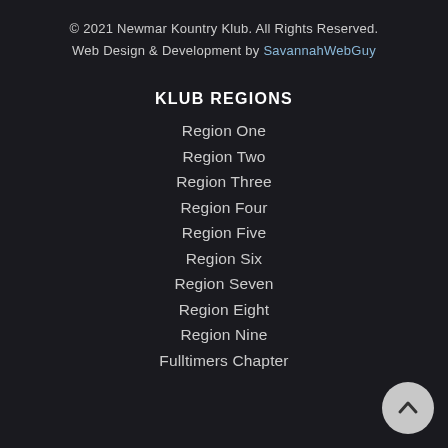© 2021 Newmar Kountry Klub. All Rights Reserved.
Web Design & Development by SavannahWebGuy
KLUB REGIONS
Region One
Region Two
Region Three
Region Four
Region Five
Region Six
Region Seven
Region Eight
Region Nine
Fulltimers Chapter